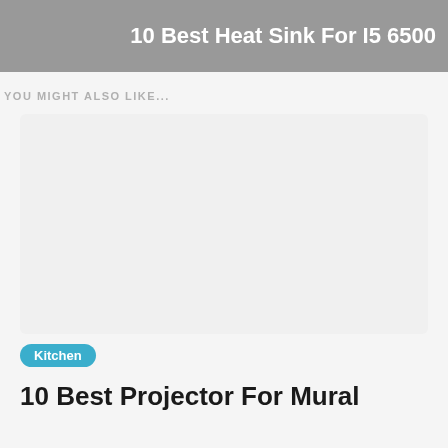10 Best Heat Sink For I5 6500
YOU MIGHT ALSO LIKE...
[Figure (photo): Placeholder image area for a related article thumbnail (light gray rectangle)]
Kitchen
10 Best Projector For Mural